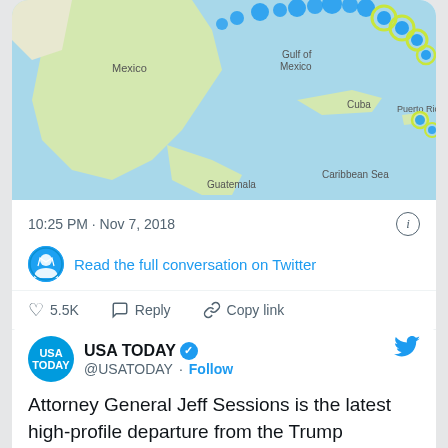[Figure (map): Map showing Gulf of Mexico region including Mexico, Cuba, Puerto Rico, Guatemala, Caribbean Sea with blue circular markers]
10:25 PM · Nov 7, 2018
Read the full conversation on Twitter
♡ 5.5K   Reply   Copy link
Read 1.1K replies
USA TODAY @USATODAY · Follow
Attorney General Jeff Sessions is the latest high-profile departure from the Trump administration.